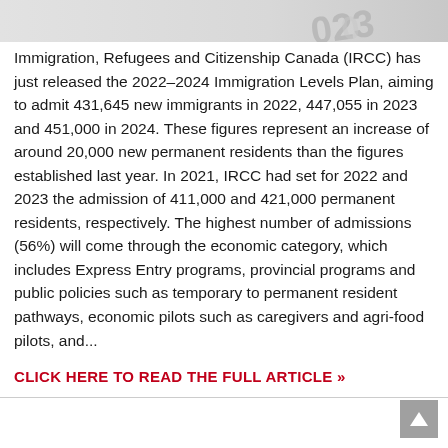[Figure (photo): Top portion of a decorative image, appears to show a document or passport with numbers/text visible at the top right corner]
Immigration, Refugees and Citizenship Canada (IRCC) has just released the 2022–2024 Immigration Levels Plan, aiming to admit 431,645 new immigrants in 2022, 447,055 in 2023 and 451,000 in 2024. These figures represent an increase of around 20,000 new permanent residents than the figures established last year. In 2021, IRCC had set for 2022 and 2023 the admission of 411,000 and 421,000 permanent residents, respectively. The highest number of admissions (56%) will come through the economic category, which includes Express Entry programs, provincial programs and public policies such as temporary to permanent resident pathways, economic pilots such as caregivers and agri-food pilots, and...
CLICK HERE TO READ THE FULL ARTICLE »